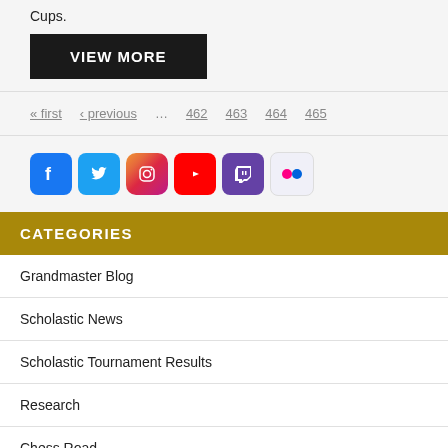Cups.
VIEW MORE
« first  ‹ previous  …  462  463  464  465
[Figure (illustration): Row of social media icons: Facebook, Twitter, Instagram, YouTube, Twitch, Flickr]
CATEGORIES
Grandmaster Blog
Scholastic News
Scholastic Tournament Results
Research
Chess Road